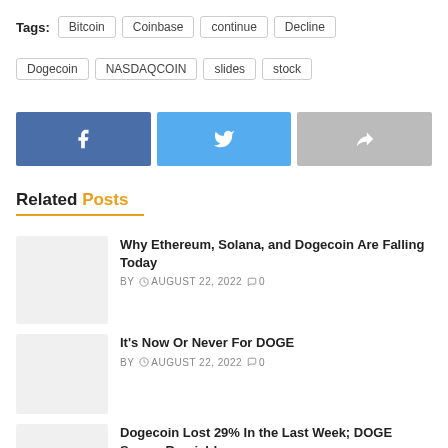Tags: Bitcoin  Coinbase  continue  Decline  Dogecoin  NASDAQCOIN  slides  stock
[Figure (other): Social share buttons: Facebook, Twitter, Share]
Related Posts
Why Ethereum, Solana, and Dogecoin Are Falling Today — BY  AUGUST 22, 2022  0
It's Now Or Never For DOGE — BY  AUGUST 22, 2022  0
Dogecoin Lost 29% In the Last Week; DOGE Seems Bearish!